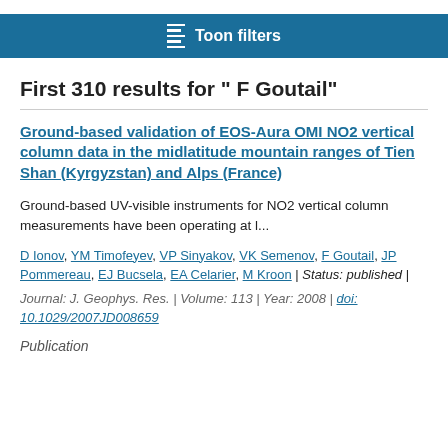Toon filters
First 310 results for " F Goutail"
Ground-based validation of EOS-Aura OMI NO2 vertical column data in the midlatitude mountain ranges of Tien Shan (Kyrgyzstan) and Alps (France)
Ground-based UV-visible instruments for NO2 vertical column measurements have been operating at l...
D Ionov, YM Timofeyev, VP Sinyakov, VK Semenov, F Goutail, JP Pommereau, EJ Bucsela, EA Celarier, M Kroon | Status: published | Journal: J. Geophys. Res. | Volume: 113 | Year: 2008 | doi: 10.1029/2007JD008659
Publication